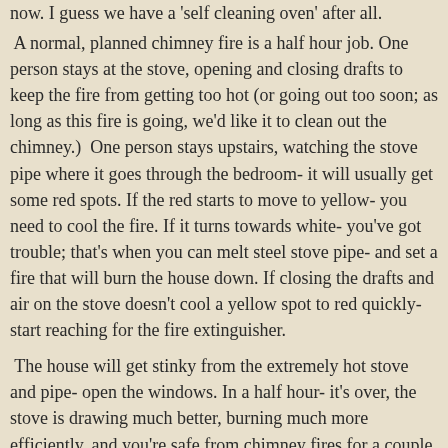now.  I guess we have a 'self cleaning oven' after all.
A normal, planned chimney fire is a half hour job.  One person stays at the stove, opening and closing drafts to keep the fire from getting too hot (or going out too soon; as long as this fire is going, we'd like it to clean out the chimney.)  One person stays upstairs, watching the stove pipe where it goes through the bedroom- it will usually get some red spots.  If the red starts to move to yellow- you need to cool the fire.  If it turns towards white- you've got trouble; that's when you can melt steel stove pipe- and set a fire that will burn the house down.  If closing the drafts and air on the stove doesn't cool a yellow spot to red quickly- start reaching for the fire extinguisher.
The house will get stinky from the extremely hot stove and pipe- open the windows.  In a half hour- it's over, the stove is drawing much better, burning much more efficiently, and you're safe from chimney fires for a couple weeks, at least; maybe a couple months.
This fire took us two hours- the gunk inside the stove caught- set on fire by burning chunks of creosote dropping...